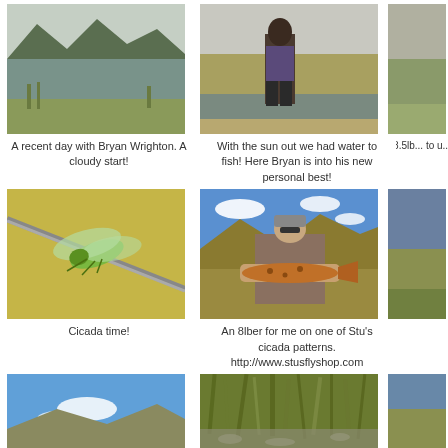[Figure (photo): Landscape photo of a mountain lake with grassy banks and hills reflected in calm water]
[Figure (photo): Person fishing near a river with grassy banks in sunlight]
[Figure (photo): Partial photo cropped at right edge]
A recent day with Bryan Wrighton. A cloudy start!
With the sun out we had water to fish! Here Bryan is into his new personal best!
8.5lb... to u...
[Figure (photo): Close-up macro photo of a green cicada on a fishing rod]
[Figure (photo): Man holding a large brown trout in an alpine landscape with blue sky and hills]
[Figure (photo): Partial photo cropped at right edge]
Cicada time!
An 8lber for me on one of Stu's cicada patterns.
http://www.stusflyshop.com
[Figure (photo): Blue sky with hills and open landscape]
[Figure (photo): Close-up of grassy vegetation with water details]
[Figure (photo): Partial photo cropped at right edge]